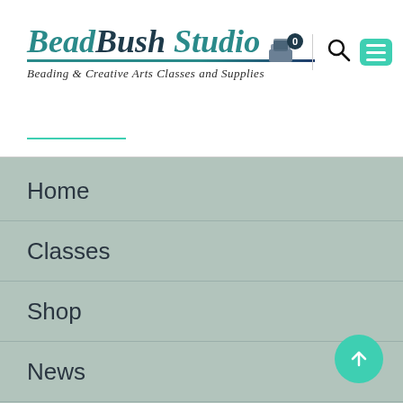[Figure (logo): BeadBush Studio logo with teal italic script text, tagline 'Beading & Creative Arts Classes and Supplies', cart icon with badge 0, search icon, and teal menu button]
Home
Classes
Shop
News
About